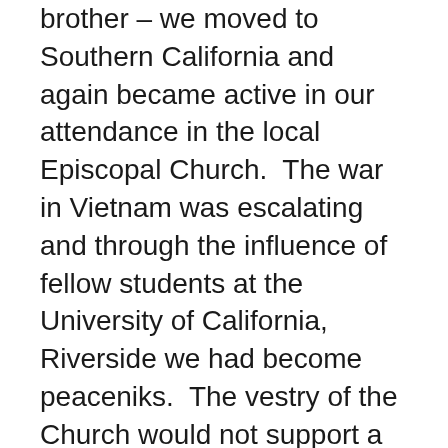brother – we moved to Southern California and again became active in our attendance in the local Episcopal Church.  The war in Vietnam was escalating and through the influence of fellow students at the University of California, Riverside we had become peaceniks.  The vestry of the Church would not support a resolution opposing the war, so we stopped going.  We abstained from attending services for about three years before we decided that we really missed it and we knew our three children needed that exposure.
Long story short, through several renewal ministries (Faith Alive & Cursillo) we